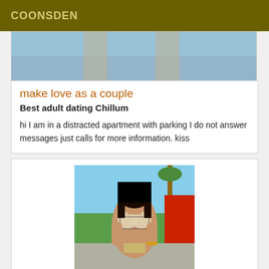COONSDEN
[Figure (photo): Partial photo of legs against blue background, cropped at top]
make love as a couple
Best adult dating Chillum
hi I am in a distracted apartment with parking I do not answer messages just calls for more information. kiss
[Figure (photo): Woman in bikini with face censored by black rectangle, outdoors near palm trees and red car]